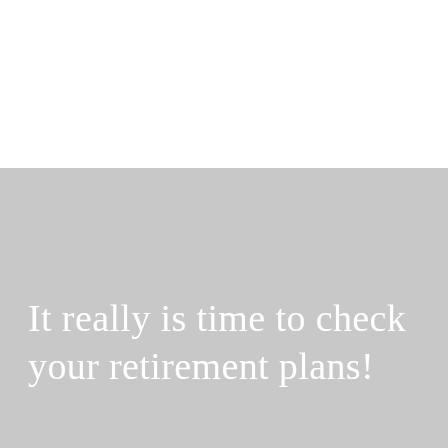[Figure (photo): Gray background block occupying the lower two-thirds of the page, with white space at the top.]
It really is time to check your retirement plans!